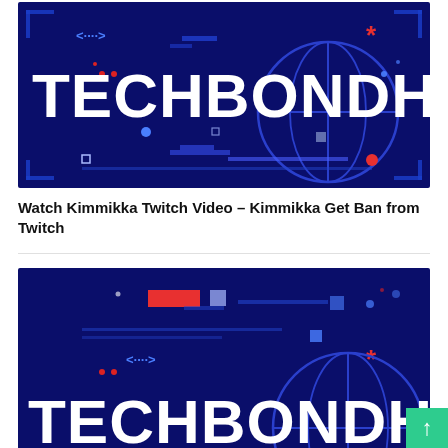[Figure (illustration): TechBondhu website banner with dark navy blue background, globe wireframe graphic, decorative tech elements (arrows, dots, rectangles), and large white bold text reading TECHBONDHU]
Watch Kimmikka Twitch Video – Kimmikka Get Ban from Twitch
[Figure (illustration): Second TechBondhu website banner (partially visible), same dark navy blue background with tech decorative elements, red rectangle, blue bracket arrows, asterisk, and partial TECHBONDHU text at bottom]